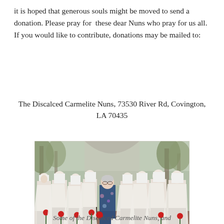it is hoped that generous souls might be moved to send a donation. Please pray for these dear Nuns who pray for us all. If you would like to contribute, donations may be mailed to:
The Discalced Carmelite Nuns, 73530 River Rd, Covington, LA 70435
[Figure (photo): Group photo of Discalced Carmelite Nuns in brown and white habits holding red roses, standing outdoors with trees in background, alongside a woman in a blue floral dress.]
Some of the Discalced Carmelite Nuns, and